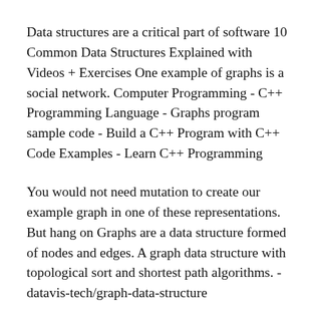Data structures are a critical part of software 10 Common Data Structures Explained with Videos + Exercises One example of graphs is a social network. Computer Programming - C++ Programming Language - Graphs program sample code - Build a C++ Program with C++ Code Examples - Learn C++ Programming
You would not need mutation to create our example graph in one of these representations. But hang on Graphs are a data structure formed of nodes and edges. A graph data structure with topological sort and shortest path algorithms. - datavis-tech/graph-data-structure
Introduction to Data Structures and Now we can